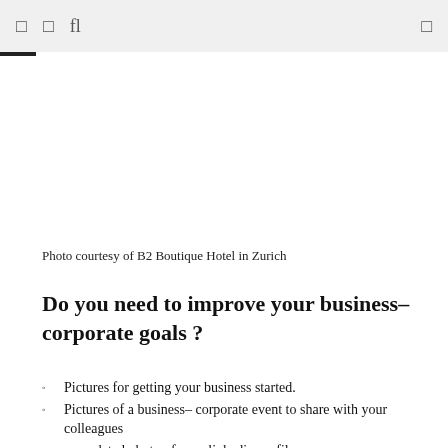□ □ fl □
Photo courtesy of B2 Boutique Hotel in Zurich
Do you need to improve your business– corporate goals ?
Pictures for getting your business started.
Pictures of a business– corporate event to share with your colleagues
an updated photo of your linkedin profile
a new catalog of your products